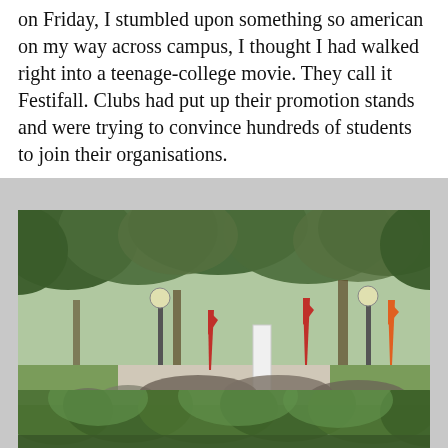on Friday, I stumbled upon something so american on my way across campus, I thought I had walked right into a teenage-college movie. They call it Festifall. Clubs had put up their promotion stands and were trying to convince hundreds of students to join their organisations.
[Figure (photo): Outdoor campus fair with large crowd of students walking among promotion stands, red and orange feather banners, tall trees providing shade, multiple club tables visible in background]
[Figure (photo): Top portion of trees on campus, green foliage visible against light sky]